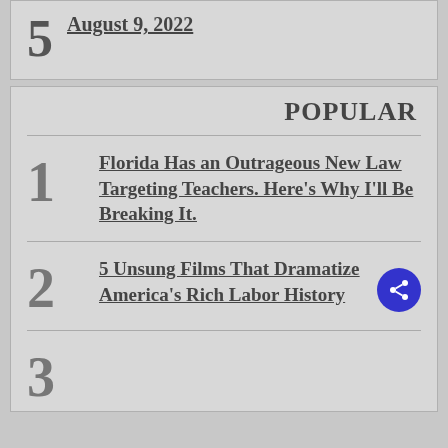5 August 9, 2022
POPULAR
1 Florida Has an Outrageous New Law Targeting Teachers. Here’s Why I’ll Be Breaking It.
2 5 Unsung Films That Dramatize America’s Rich Labor History
3